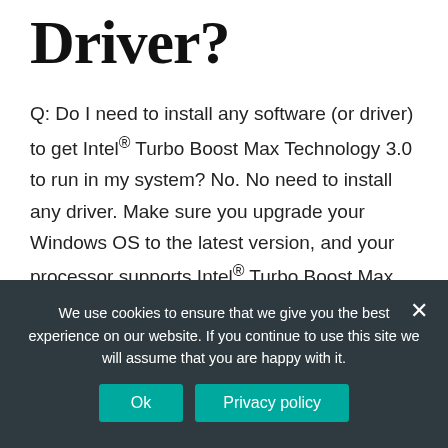Driver?
Q: Do I need to install any software (or driver) to get Intel® Turbo Boost Max Technology 3.0 to run in my system? No. No need to install any driver. Make sure you upgrade your Windows OS to the latest version, and your processor supports Intel® Turbo Boost Max Technology 3.0.
We use cookies to ensure that we give you the best experience on our website. If you continue to use this site we will assume that you are happy with it.